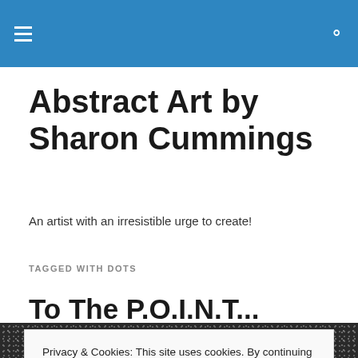Abstract Art by Sharon Cummings
Abstract Art by Sharon Cummings
An artist with an irresistible urge to create!
TAGGED WITH DOTS
To The P.O.I.N.T...
Privacy & Cookies: This site uses cookies. By continuing to use this website, you agree to their use.
To find out more, including how to control cookies, see here: Cookie Policy
Close and accept